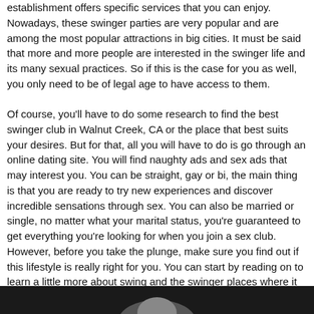establishment offers specific services that you can enjoy. Nowadays, these swinger parties are very popular and are among the most popular attractions in big cities. It must be said that more and more people are interested in the swinger life and its many sexual practices. So if this is the case for you as well, you only need to be of legal age to have access to them.
Of course, you'll have to do some research to find the best swinger club in Walnut Creek, CA or the place that best suits your desires. But for that, all you will have to do is go through an online dating site. You will find naughty ads and sex ads that may interest you. You can be straight, gay or bi, the main thing is that you are ready to try new experiences and discover incredible sensations through sex. You can also be married or single, no matter what your marital status, you're guaranteed to get everything you're looking for when you join a sex club. However, before you take the plunge, make sure you find out if this lifestyle is really right for you. You can start by reading on to learn a little more about swing and the swinger places where it is tolerated.
[Figure (photo): A black and white photograph partially visible at the bottom of the page showing a person.]